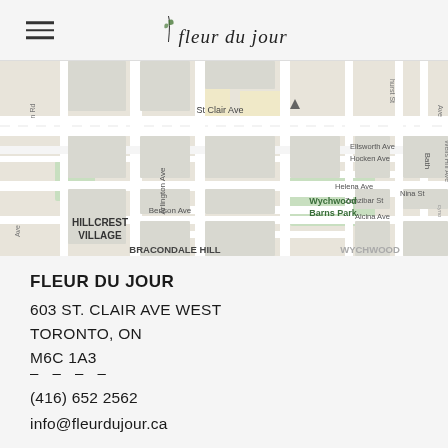fleur du jour
[Figure (map): Street map showing area around St Clair Ave West, Toronto, including Hillcrest Village, Wychwood Barns Park, Bracondale Hill, and surrounding streets]
FLEUR DU JOUR
603 ST. CLAIR AVE WEST
TORONTO, ON
M6C 1A3
– – – –
(416) 652 2562
info@fleurdujour.ca